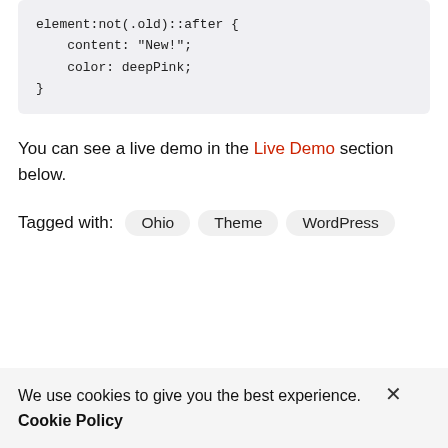element:not(.old)::after {
    content: "New!";
    color: deepPink;
}
You can see a live demo in the Live Demo section below.
Tagged with: Ohio Theme WordPress
We use cookies to give you the best experience. Cookie Policy